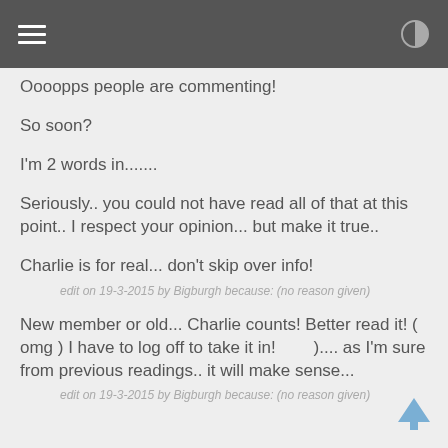Oooopps people are commenting!
So soon?
I'm 2 words in.......
Seriously.. you could not have read all of that at this point.. I respect your opinion... but make it true..
Charlie is for real... don't skip over info!
edit on 19-3-2015 by Bigburgh because: (no reason given)
New member or old... Charlie counts! Better read it! ( omg ) I have to log off to take it in!        ).... as I'm sure from previous readings.. it will make sense...
edit on 19-3-2015 by Bigburgh because: (no reason given)